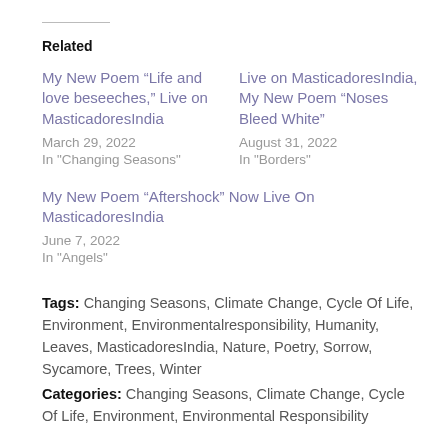Related
My New Poem “Life and love beseeches,” Live on MasticadoresIndia
March 29, 2022
In "Changing Seasons"
Live on MasticadoresIndia, My New Poem “Noses Bleed White”
August 31, 2022
In "Borders"
My New Poem “Aftershock” Now Live On MasticadoresIndia
June 7, 2022
In "Angels"
Tags: Changing Seasons, Climate Change, Cycle Of Life, Environment, Environmentalresponsibility, Humanity, Leaves, MasticadoresIndia, Nature, Poetry, Sorrow, Sycamore, Trees, Winter
Categories: Changing Seasons, Climate Change, Cycle Of Life, Environment, Environmental Responsibility